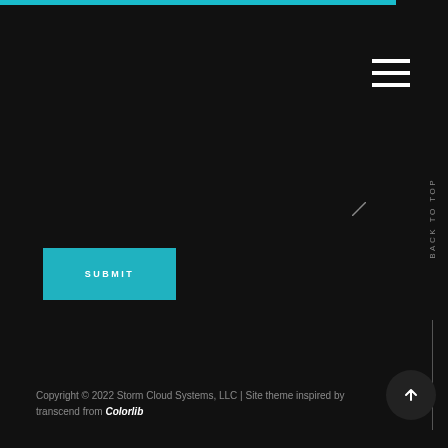[Figure (screenshot): Top teal horizontal progress bar at the very top of the page]
[Figure (screenshot): Hamburger menu icon (three horizontal white lines) on black background in top right]
[Figure (screenshot): Teal SUBMIT button]
BACK TO TOP
[Figure (screenshot): Circular dark button with white upward arrow]
Copyright © 2022 Storm Cloud Systems, LLC | Site theme inspired by transcend from Colorlib